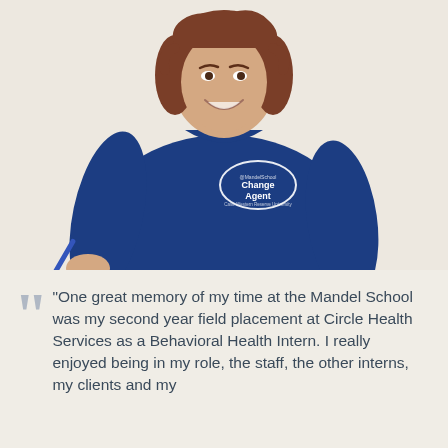[Figure (photo): Woman smiling, wearing a dark blue t-shirt with an oval badge that reads 'Change Agent' on the chest, holding a pen, photographed from the waist up against a light background.]
“One great memory of my time at the Mandel School was my second year field placement at Circle Health Services as a Behavioral Health Intern. I really enjoyed being in my role, the staff, the other interns, my clients and my